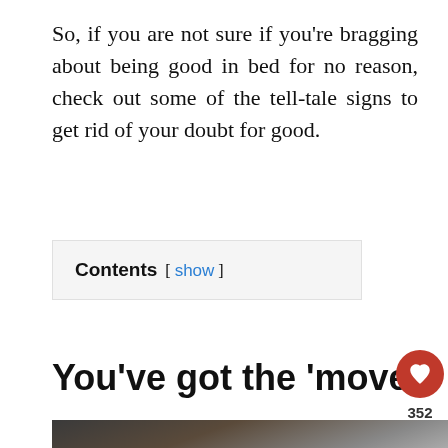So, if you are not sure if you're bragging about being good in bed for no reason, check out some of the tell-tale signs to get rid of your doubt for good.
Contents [ show ]
You've got the ‘moves’
[Figure (photo): Photo of a person in an intimate pose on a couch/sofa setting]